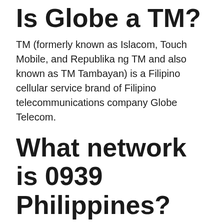Is Globe a TM?
TM (formerly known as Islacom, Touch Mobile, and Republika ng TM and also known as TM Tambayan) is a Filipino cellular service brand of Filipino telecommunications company Globe Telecom.
What network is 0939 Philippines?
The mobile network of 0939 or 63939 is Smart Communications .
What is a prefix number?